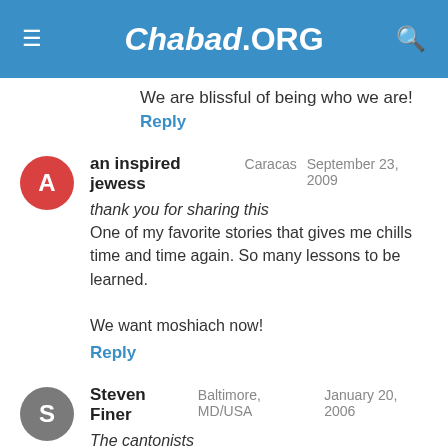Chabad.ORG
We are blissful of being who we are!
Reply
an inspired jewess  Caracas  September 23, 2009
thank you for sharing this
One of my favorite stories that gives me chills time and time again. So many lessons to be learned.

We want moshiach now!
Reply
Steven Finer  Baltimore, MD/USA  January 20, 2006
The cantonists
Dear Rabbi Bolton,